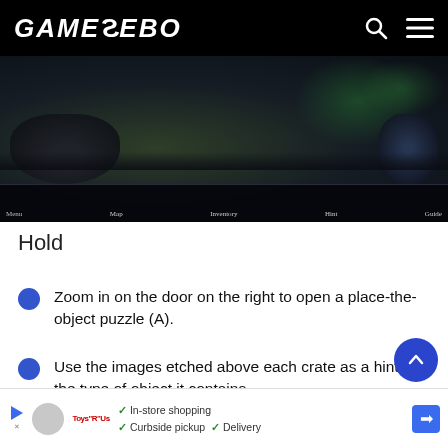GAMEZEBO
[Figure (screenshot): Dark fantasy game screenshot showing a dungeon or hold environment with menu bar at bottom showing Menu, Map, Inventory, Guide, and Hint options]
Hold
Zoom in on the door on the right to open a place-the-object puzzle (A).
Use the images etched above each crate as a hint for the type of object it contains.
In-store shopping  Curbside pickup  Delivery